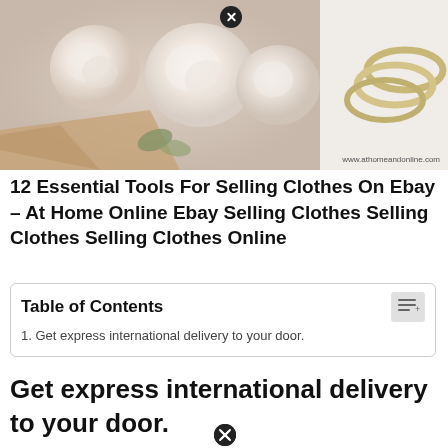[Figure (photo): Photo of cream/beige roses with lace wrapping on the left, and gold rings on the right. Watermark reads www.athomeandonline.com]
12 Essential Tools For Selling Clothes On Ebay – At Home Online Ebay Selling Clothes Selling Clothes Selling Clothes Online
| 1. Get express international delivery to your door. |
Get express international delivery to your door.